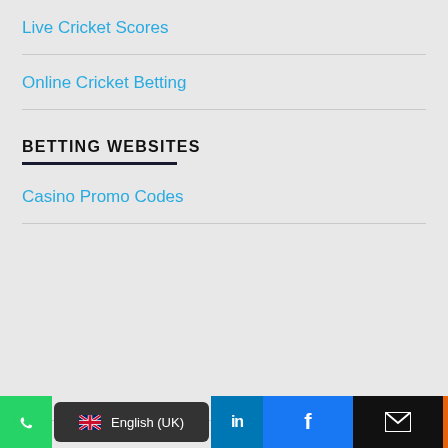Live Cricket Scores
Online Cricket Betting
BETTING WEBSITES
Casino Promo Codes
WhatsApp | English (UK) | LinkedIn | Facebook | Email | More